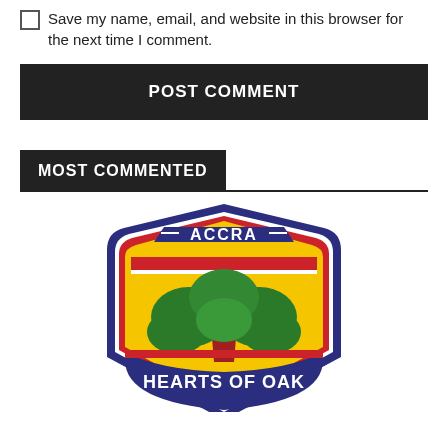Save my name, email, and website in this browser for the next time I comment.
POST COMMENT
MOST COMMENTED
[Figure (logo): Accra Hearts of Oak football club badge/logo featuring a large green tree with a red trunk on a yellow background, surrounded by a navy blue shield shape with the text 'ACCRA' at the top and 'HEARTS OF OAK' at the bottom.]